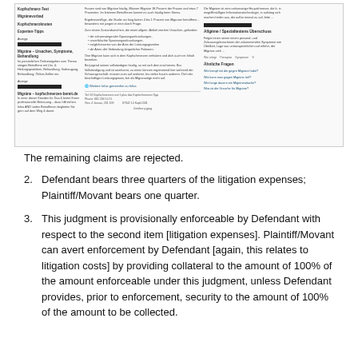[Figure (screenshot): Screenshot of a German-language webpage about Migräne (migraine), showing three columns with navigation links on the left, article content in the middle, and related topics on the right. Several elements are redacted with black bars.]
The remaining claims are rejected.
2. Defendant bears three quarters of the litigation expenses; Plaintiff/Movant bears one quarter.
3. This judgment is provisionally enforceable by Defendant with respect to the second item [litigation expenses]. Plaintiff/Movant can avert enforcement by Defendant [again, this relates to litigation costs] by providing collateral to the amount of 100% of the amount enforceable under this judgment, unless Defendant provides, prior to enforcement, security to the amount of 100% of the amount to be collected.